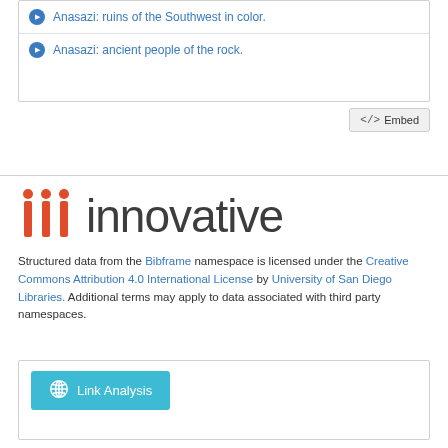Anasazi: ruins of the Southwest in color.
Anasazi: ancient people of the rock.
[Figure (logo): Innovative Interfaces logo: three red/orange vertical bar shapes (iii) followed by the word 'innovative' in dark gray sans-serif]
Structured data from the Bibframe namespace is licensed under the Creative Commons Attribution 4.0 International License by University of San Diego Libraries. Additional terms may apply to data associated with third party namespaces.
Link Analysis